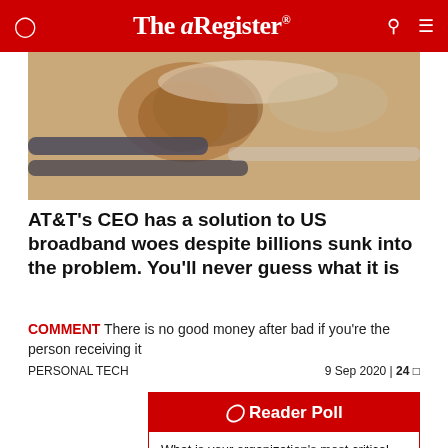The Register
[Figure (photo): Close-up photo of cables and wires with what appears to be a hermit crab or crustacean on them]
AT&T's CEO has a solution to US broadband woes despite billions sunk into the problem. You'll never guess what it is
COMMENT There is no good money after bad if you're the person receiving it
PERSONAL TECH    9 Sep 2020 | 24
Reader Poll
What is your organization's most critical edge security requirement?
Network security